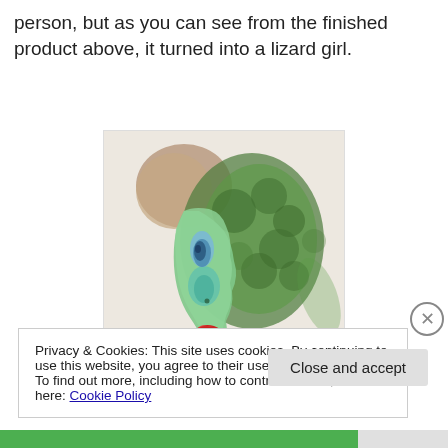person, but as you can see from the finished product above, it turned into a lizard girl.
[Figure (illustration): Digital painting of a lizard girl face in profile, featuring green scaly skin, a blue eye, red lips, and brownish hair against a light beige background.]
Privacy & Cookies: This site uses cookies. By continuing to use this website, you agree to their use.
To find out more, including how to control cookies, see here: Cookie Policy
Close and accept